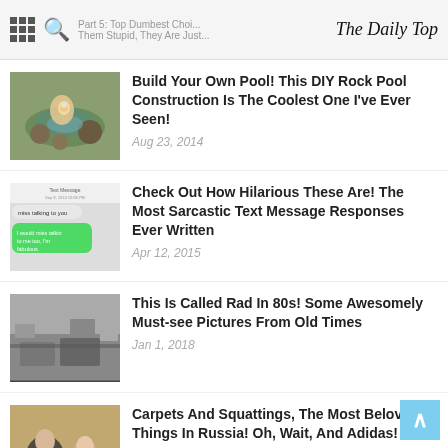The Daily Top
Build Your Own Pool! This DIY Rock Pool Construction Is The Coolest One I've Ever Seen! — Aug 23, 2014
Check Out How Hilarious These Are! The Most Sarcastic Text Message Responses Ever Written — Apr 12, 2015
This Is Called Rad In 80s! Some Awesomely Must-see Pictures From Old Times — Jan 1, 2018
Carpets And Squattings, The Most Beloved Things In Russia! Oh, Wait, And Adidas! — Apr 14, 2015